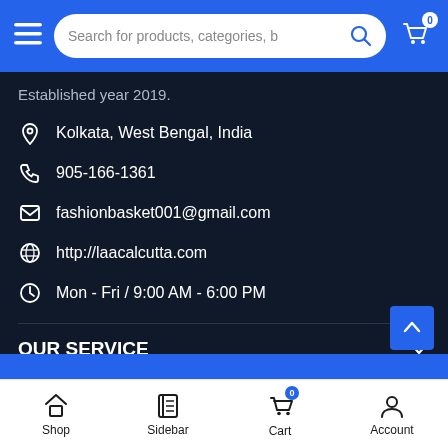Search for products, categories, b...
Established year 2019.
Kolkata, West Bengal, India
905-166-1361
fashionbasket001@gmail.com
http://laacalcutta.com
Mon - Fri / 9:00 AM - 6:00 PM
OUR SERVICE
SEARCH
Shop  Sidebar  Cart  Account